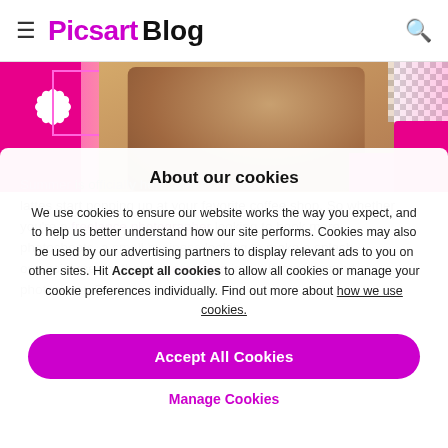Picsart Blog
[Figure (photo): Hero image showing a woman at the beach with pink floral decorations and a checkered pattern element in the top right corner.]
About our cookies
We use cookies to ensure our website works the way you expect, and to help us better understand how our site performs. Cookies may also be used by our advertising partners to display relevant ads to you on other sites. Hit Accept all cookies to allow all cookies or manage your cookie preferences individually. Find out more about how we use cookies.
Accept All Cookies
Manage Cookies